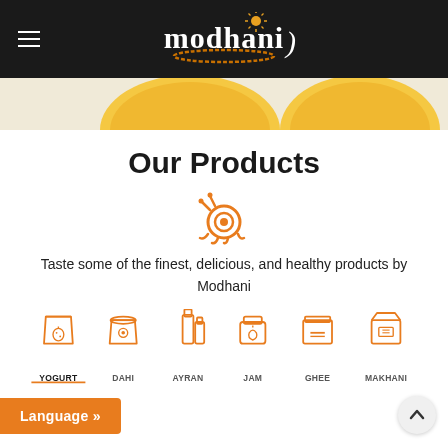Modhani
[Figure (illustration): Yellow product containers partially visible on cream background strip]
Our Products
[Figure (logo): Modhani orange swirl/snail decorative icon]
Taste some of the finest, delicious, and healthy products by Modhani
[Figure (infographic): Six product category icons in orange outline style: Yogurt, Dahi, Ayran, Jam, Ghee, Makhani]
Language »
^